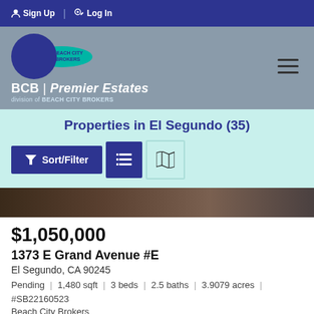Sign Up  Log In
[Figure (logo): Beach City Brokers logo with BCB Premier Estates branding and hamburger menu icon]
Properties in El Segundo (35)
[Figure (screenshot): Sort/Filter button, list view icon button, and map icon button on a teal background]
[Figure (photo): Partial property photo showing a dark surface]
$1,050,000
1373 E Grand Avenue #E
El Segundo, CA 90245
Pending | 1,480 sqft | 3 beds | 2.5 baths | 3.9079 acres | #SB22160523
Beach City Brokers